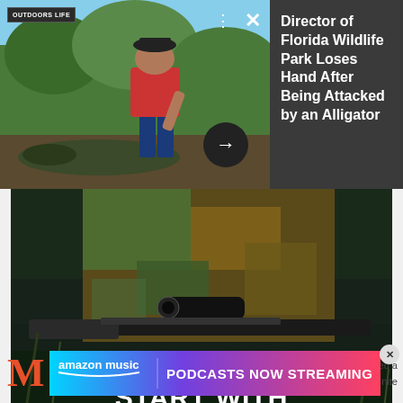[Figure (screenshot): News card showing a man leaning over an alligator outdoors, with Outdoors Life logo, close/menu controls, and arrow button on the left photo panel]
Director of Florida Wildlife Park Loses Hand After Being Attacked by an Alligator
[Figure (photo): Hunter in camouflage gear holding a rifle, with dark outdoor background and text overlay THE BEST STORIES START WITH]
SCROLL TO CONTINUE WITH CONTENT
[Figure (screenshot): Amazon Music advertisement banner with gradient background reading PODCASTS NOW STREAMING, with partial Medium M logo and text visible below]